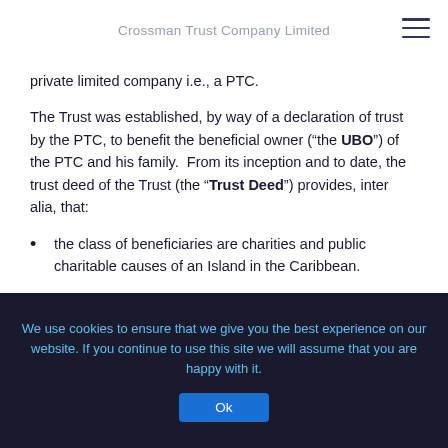Crossman Trust Company Limited
private limited company i.e., a PTC.
The Trust was established, by way of a declaration of trust by the PTC, to benefit the beneficial owner (“the UBO”) of the PTC and his family. From its inception and to date, the trust deed of the Trust (the “Trust Deed”) provides, inter alia, that:
the class of beneficiaries are charities and public charitable causes of an Island in the Caribbean.
the trustee, the PTC, has the power to add and exclude beneficiaries throughout the trust period.
We use cookies to ensure that we give you the best experience on our website. If you continue to use this site we will assume that you are happy with it.